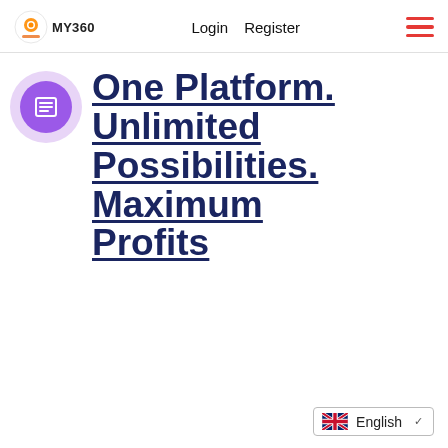Login   Register
[Figure (logo): MY360 logo with camera icon]
One Platform. Unlimited Possibilities. Maximum Profits
English